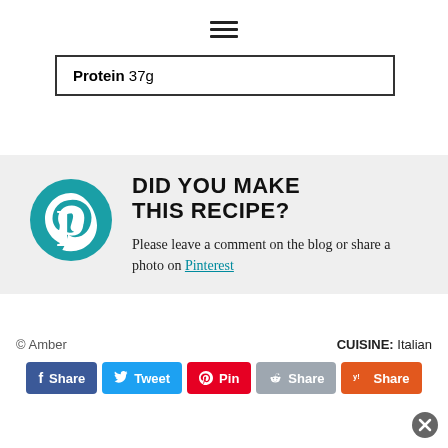[Figure (other): Hamburger/menu icon (three horizontal lines) centered at top of page]
| Protein 37g |
DID YOU MAKE THIS RECIPE?
Please leave a comment on the blog or share a photo on Pinterest
© Amber
CUISINE: Italian
Share   Tweet   Pin   Share   Share